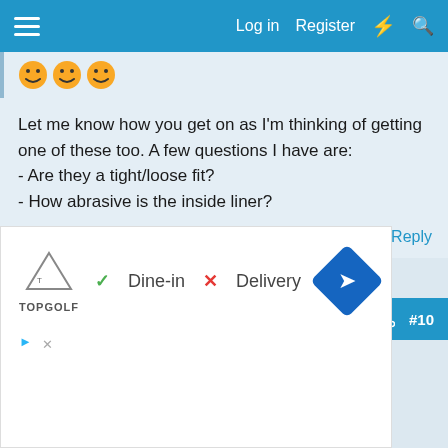Log in  Register
[Figure (illustration): Three laughing/grinning emoji faces in a row (partial top of previous post)]
Let me know how you get on as I'm thinking of getting one of these too. A few questions I have are:
- Are they a tight/loose fit?
- How abrasive is the inside liner?
Reply
gas1man
Apr 29, 2022  #10
matts1973
New member
[Figure (screenshot): Advertisement for TopGolf showing Dine-in with checkmark and Delivery with X, and a blue navigation arrow icon]